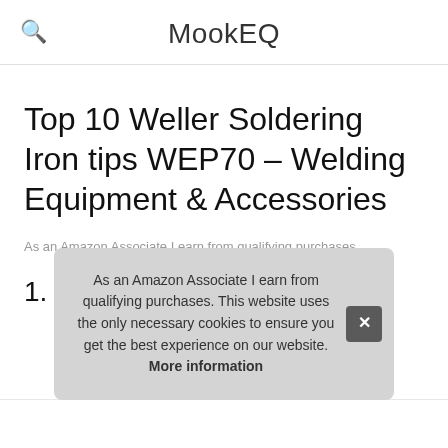MookEQ
Top 10 Weller Soldering Iron tips WEP70 – Welding Equipment & Accessories
As an Amazon Associate I earn from qualifying purchases.
1. SolderFun
#ad
As an Amazon Associate I earn from qualifying purchases. This website uses the only necessary cookies to ensure you get the best experience on our website. More information